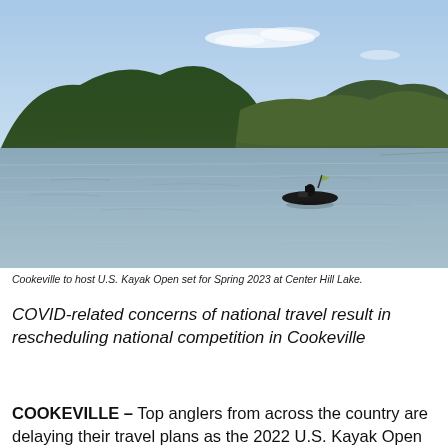[Figure (photo): A kayaker on a calm lake surrounded by forested hills under a partly cloudy sky. Center Hill Lake near Cookeville.]
Cookeville to host U.S. Kayak Open set for Spring 2023 at Center Hill Lake.
COVID-related concerns of national travel result in rescheduling national competition in Cookeville
COOKEVILLE – Top anglers from across the country are delaying their travel plans as the 2022 U.S. Kayak Open and